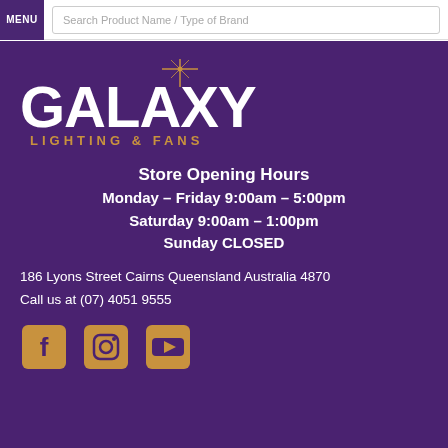MENU | Search Product Name / Type of Brand
[Figure (logo): Galaxy Lighting & Fans logo with gold star graphic and white bold text on purple background]
Store Opening Hours
Monday – Friday 9:00am – 5:00pm
Saturday 9:00am – 1:00pm
Sunday CLOSED
186 Lyons Street Cairns Queensland Australia 4870
Call us at (07) 4051 9555
[Figure (other): Social media icons: Facebook, Instagram, YouTube in gold/yellow on purple background]